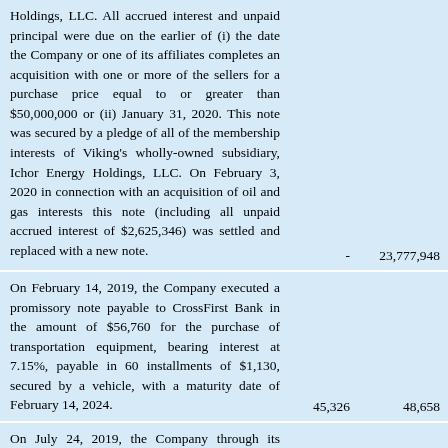Holdings, LLC. All accrued interest and unpaid principal were due on the earlier of (i) the date the Company or one of its affiliates completes an acquisition with one or more of the sellers for a purchase price equal to or greater than $50,000,000 or (ii) January 31, 2020. This note was secured by a pledge of all of the membership interests of Viking's wholly-owned subsidiary, Ichor Energy Holdings, LLC. On February 3, 2020 in connection with an acquisition of oil and gas interests this note (including all unpaid accrued interest of $2,625,346) was settled and replaced with a new note.
On February 14, 2019, the Company executed a promissory note payable to CrossFirst Bank in the amount of $56,760 for the purchase of transportation equipment, bearing interest at 7.15%, payable in 60 installments of $1,130, secured by a vehicle, with a maturity date of February 14, 2024.
On July 24, 2019, the Company through its wholly owned subsidiary, Mid-Con Petroleum, LLC, executed a promissory note payable to Cornerstone Bank in the amount of $2,241,758, bearing interest at 6%,